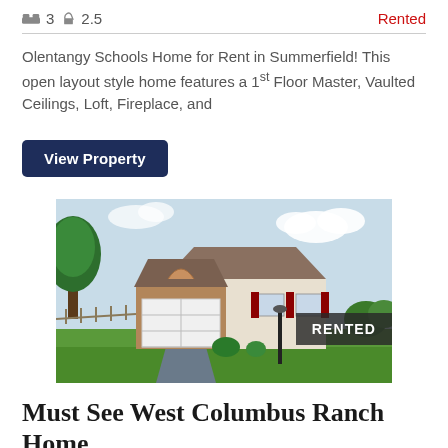🛏 3 🛁 2.5    Rented
Olentangy Schools Home for Rent in Summerfield! This open layout style home features a 1st Floor Master, Vaulted Ceilings, Loft, Fireplace, and
View Property
[Figure (photo): Exterior photo of a single-story ranch-style home with brick facade, white garage door, red shutters, green lawn, and a RENTED badge overlay in the corner]
Must See West Columbus Ranch Home
🛏 3 🛁 2    Rented